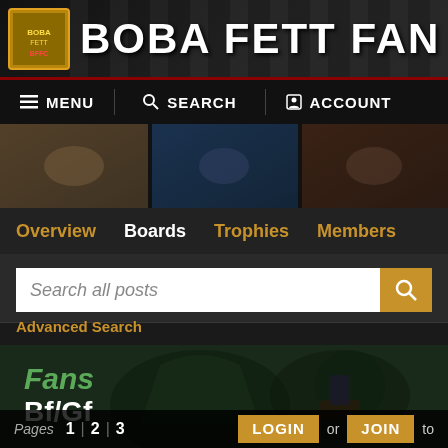BOBA FETT FAN CLUB
MENU   SEARCH   ACCOUNT
[Figure (screenshot): Banner image strip showing Boba Fett scenes/stills in three panels]
Overview   Boards   Trophies   Members
Search all posts
Advanced Search
Fans
Bf/Gf
Pages 1 | 2 | 3   LOGIN or JOIN to